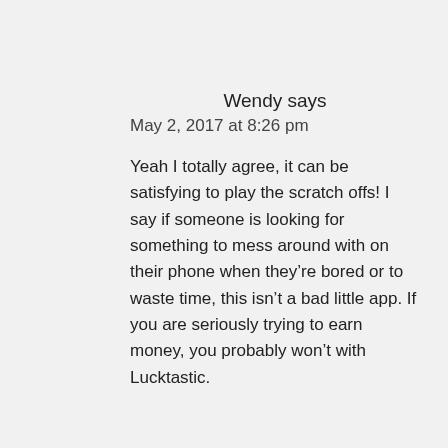Wendy says
May 2, 2017 at 8:26 pm
Yeah I totally agree, it can be satisfying to play the scratch offs! I say if someone is looking for something to mess around with on their phone when they’re bored or to waste time, this isn’t a bad little app. If you are seriously trying to earn money, you probably won’t with Lucktastic.